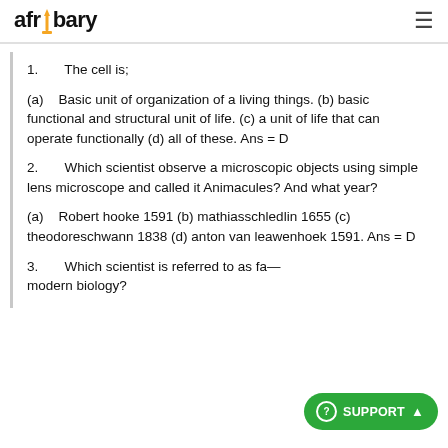afribary
1.      The cell is;
(a)    Basic unit of organization of a living things. (b) basic functional and structural unit of life. (c) a unit of life that can operate functionally (d) all of these. Ans = D
2.      Which scientist observe a microscopic objects using simple lens microscope and called it Animacules? And what year?
(a)    Robert hooke 1591 (b) mathiasschledlin 1655 (c) theodoreschwann 1838 (d) anton van leawenhoek 1591. Ans = D
3.      Which scientist is referred to as father of modern biology?